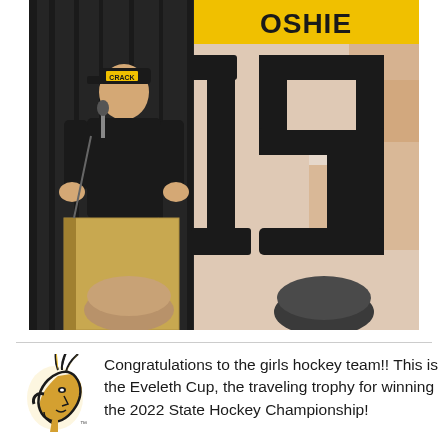[Figure (photo): Photo of a man in black outfit and cap standing at a wooden podium in front of a dark curtain, with a large jersey bearing the number 19 displayed behind him. A yellow banner at the top reads 'OSHIE'. Two audience members' heads are visible in the foreground.]
[Figure (logo): Warroad Warriors / school mascot logo — a stylized Native American profile head with feathers, in black and yellow.]
Congratulations to the girls hockey team!! This is the Eveleth Cup, the traveling trophy for winning the 2022 State Hockey Championship!